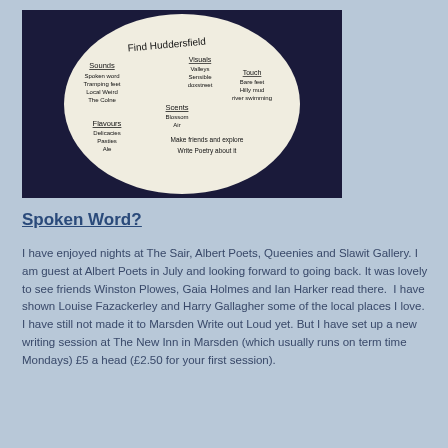[Figure (photo): A circular white plate or disc on a dark navy background. The plate has handwritten text in black ink reading: 'Find Huddersfield' at the top, with categories including 'Sounds' (Spoken word, Tramping feet, Local Weird, The Colne), 'Visuals' (Valleys, Sensible, Doxstreet), 'Touch' (Bare feet, Hilly mud, River swimming), 'Scents' (Blossom, Air), 'Flavours' (Delicacies, Pasties, Ale), and at the bottom 'Make friends and explore' and 'Write Poetry about it'.]
Spoken Word?
I have enjoyed nights at The Sair, Albert Poets, Queenies and Slawit Gallery. I am guest at Albert Poets in July and looking forward to going back. It was lovely to see friends Winston Plowes, Gaia Holmes and Ian Harker read there.  I have shown Louise Fazackerley and Harry Gallagher some of the local places I love. I have still not made it to Marsden Write out Loud yet. But I have set up a new writing session at The New Inn in Marsden (which usually runs on term time Mondays) £5 a head (£2.50 for your first session).